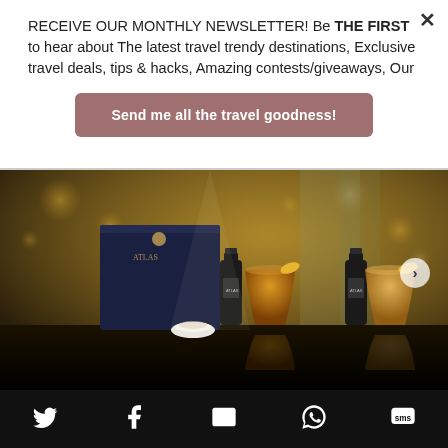RECEIVE OUR MONTHLY NEWSLETTER! Be THE FIRST to hear about The latest travel trendy destinations, Exclusive travel deals, tips & hacks, Amazing contests/giveaways, Our
Send me all the travel goodness!
[Figure (photo): A luxury cocktail kit featuring a dark navy gift box branded 'ATLAS', two dark glass bottles, two amber cocktail glasses with citrus garnishes, and a small white bowl, all on a reflective dark surface with warm bokeh bar lighting in the background.]
[Figure (infographic): Social media icon bar at the bottom containing Twitter, Facebook, Email, WhatsApp, and SMS icons on a black background.]